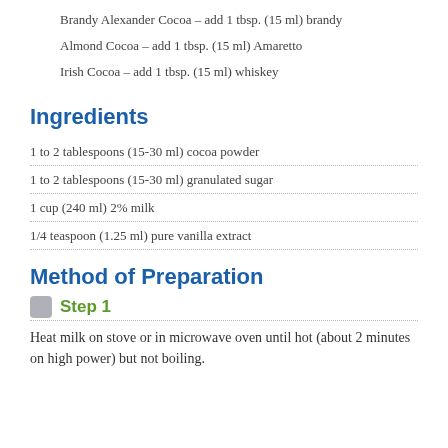Brandy Alexander Cocoa – add 1 tbsp. (15 ml) brandy
Almond Cocoa – add 1 tbsp. (15 ml) Amaretto
Irish Cocoa – add 1 tbsp. (15 ml) whiskey
Ingredients
1 to 2 tablespoons (15-30 ml) cocoa powder
1 to 2 tablespoons (15-30 ml) granulated sugar
1 cup (240 ml) 2% milk
1/4 teaspoon (1.25 ml) pure vanilla extract
Method of Preparation
Step 1
Heat milk on stove or in microwave oven until hot (about 2 minutes on high power) but not boiling.